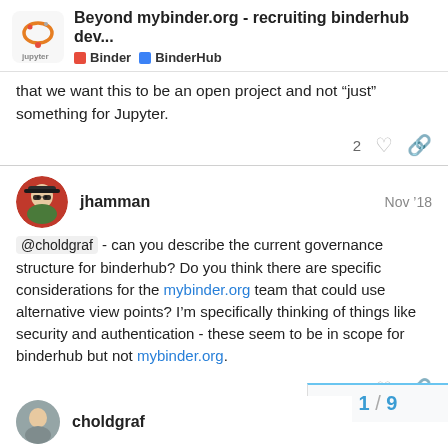Beyond mybinder.org - recruiting binderhub dev... | Binder | BinderHub
that we want this to be an open project and not “just” something for Jupyter.
jhamman  Nov ’18
@choldgraf - can you describe the current governance structure for binderhub? Do you think there are specific considerations for the mybinder.org team that could use alternative view points? I’m specifically thinking of things like security and authentication - these seem to be in scope for binderhub but not mybinder.org.
choldgraf